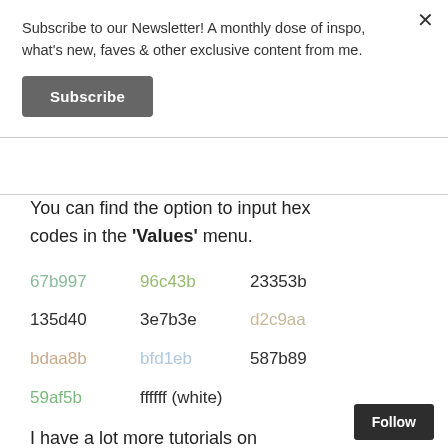Subscribe to our Newsletter! A monthly dose of inspo, what's new, faves & other exclusive content from me.
Subscribe
You can find the option to input hex codes in the 'Values' menu.
67b997   96c43b   23353b
135d40   3e7b3e   d2c9aa
bdaa8b   bfd1eb   587b89
59af5b   ffffff (white)
I have a lot more tutorials on
Follow